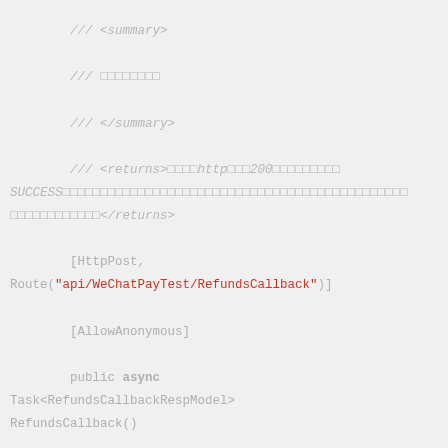/// <summary>

/// □□□□□□□□

/// </summary>

/// <returns>□□□□http□□□200□□□□□□□□□SUCCESS□□□□□□□□□□□□□□□□□□□□□□□□□□□□□□□□□□□□□□□□□□□□□□□□□□□□□□</returns>

        [HttpPost,
Route("api/WeChatPayTest/RefundsCallback")]

        [AllowAnonymous]

        public async
Task<RefundsCallbackRespModel>
RefundsCallback()

        {

            #region □□□□□□

            /**